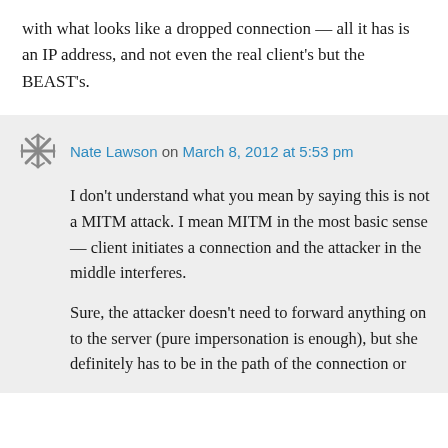with what looks like a dropped connection — all it has is an IP address, and not even the real client's but the BEAST's.
Nate Lawson on March 8, 2012 at 5:53 pm
I don't understand what you mean by saying this is not a MITM attack. I mean MITM in the most basic sense — client initiates a connection and the attacker in the middle interferes.
Sure, the attacker doesn't need to forward anything on to the server (pure impersonation is enough), but she definitely has to be in the path of the connection or